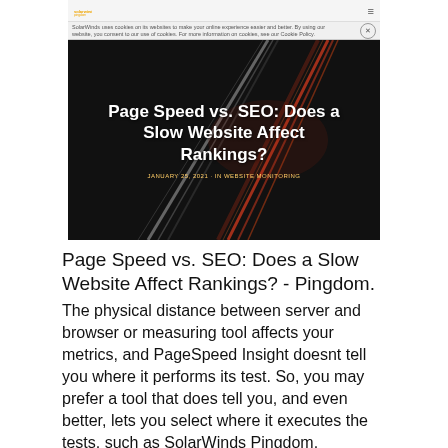[Figure (screenshot): Screenshot of a SolarWinds Pingdom webpage showing a blog post titled 'Page Speed vs. SEO: Does a Slow Website Affect Rankings?' with a dark hero image showing light streaks on a highway]
Page Speed vs. SEO: Does a Slow Website Affect Rankings? - Pingdom.
The physical distance between server and browser or measuring tool affects your metrics, and PageSpeed Insight doesnt tell you where it performs its test. So, you may prefer a tool that does tell you, and even better, lets you select where it executes the tests, such as SolarWinds Pingdom.
How to Interpret and Improve Your Google PageSpeed Insights